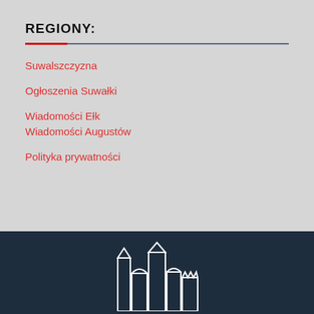REGIONY:
Suwalszczyzna
Ogłoszenia Suwałki
Wiadomości Ełk
Wiadomości Augustów
Polityka prywatności
[Figure (illustration): White outline silhouette of a city skyline with towers and buildings on a dark navy background]